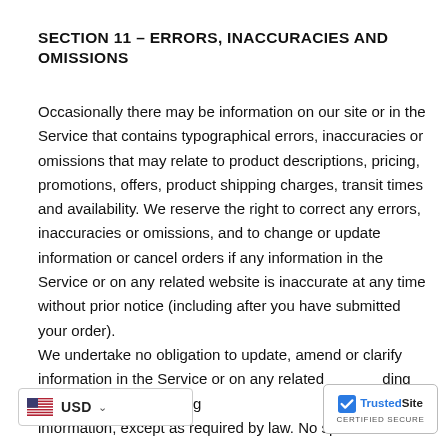SECTION 11 – ERRORS, INACCURACIES AND OMISSIONS
Occasionally there may be information on our site or in the Service that contains typographical errors, inaccuracies or omissions that may relate to product descriptions, pricing, promotions, offers, product shipping charges, transit times and availability. We reserve the right to correct any errors, inaccuracies or omissions, and to change or update information or cancel orders if any information in the Service or on any related website is inaccurate at any time without prior notice (including after you have submitted your order).
We undertake no obligation to update, amend or clarify information in the Service or on any related ding without limitation, pricing information, except as required by law. No sp